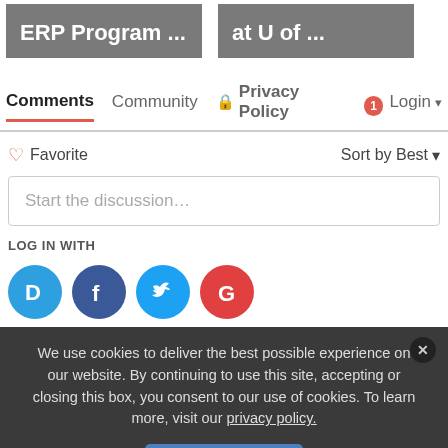[Figure (screenshot): Two gray card thumbnails with text 'ERP Program ...' and 'at U of ...']
Comments   Community   🔒 Privacy Policy   1  Login ▾
♡ Favorite   Sort by Best ▾
Start the discussion…
LOG IN WITH
[Figure (logo): Social login icons: Disqus (D), Facebook (f), Twitter (bird), Google (G)]
We use cookies to deliver the best possible experience on our website. By continuing to use this site, accepting or closing this box, you consent to our use of cookies. To learn more, visit our privacy policy.
Accept All